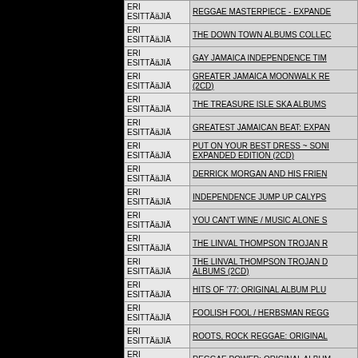| ERI ESITTÄäJIÄ | Title |
| --- | --- |
| ERI ESITTÄäJIÄ | REGGAE MASTERPIECE - EXPANDE... |
| ERI ESITTÄäJIÄ | THE DOWN TOWN ALBUMS COLLEC... |
| ERI ESITTÄäJIÄ | GAY JAMAICA INDEPENDENCE TIM... |
| ERI ESITTÄäJIÄ | GREATER JAMAICA MOONWALK RE... (2CD) |
| ERI ESITTÄäJIÄ | THE TREASURE ISLE SKA ALBUMS |
| ERI ESITTÄäJIÄ | GREATEST JAMAICAN BEAT: EXPAN... |
| ERI ESITTÄäJIÄ | PUT ON YOUR BEST DRESS ~ SONI... EXPANDED EDITION (2CD) |
| ERI ESITTÄäJIÄ | DERRICK MORGAN AND HIS FRIEN... |
| ERI ESITTÄäJIÄ | INDEPENDENCE JUMP UP CALYPS... |
| ERI ESITTÄäJIÄ | YOU CAN'T WINE / MUSIC ALONE S... |
| ERI ESITTÄäJIÄ | THE LINVAL THOMPSON TROJAN R... |
| ERI ESITTÄäJIÄ | THE LINVAL THOMPSON TROJAN D... ALBUMS (2CD) |
| ERI ESITTÄäJIÄ | HITS OF '77: ORIGINAL ALBUM PLU... |
| ERI ESITTÄäJIÄ | FOOLISH FOOL / HERBSMAN REGG... |
| ERI ESITTÄäJIÄ | ROOTS, ROCK REGGAE: ORIGINAL... |
| ERI ESITTÄäJIÄ | REGGAE POWER: ORIGINAL ALBUM... |
| ERI ESITTÄäJIÄ | THE SKA FROM JAMAICA: ORIGINA... |
| ERI ESITTÄäJIÄ | CAN'T STOP THE DREAD: ORIGINA... |